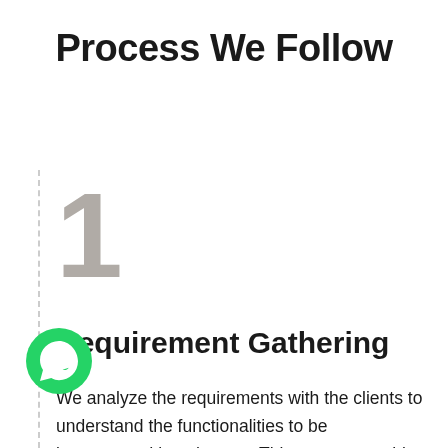Process We Follow
[Figure (illustration): Large light gray bold numeral '1' displayed as a decorative step indicator]
Requirement Gathering
We analyze the requirements with the clients to understand the functionalities to be incorporated into the app. This process enables to draw a development plan and transform the clients' concepts into an efficient and functional app.
[Figure (logo): WhatsApp floating chat button — green circle with white phone handset icon]